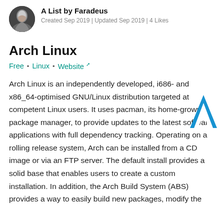A List by Faradeus
Created Sep 2019 | Updated Sep 2019 | 4 Likes
Arch Linux
Free  •  Linux  •  Website
[Figure (logo): Arch Linux blue angular 'A' logo]
Arch Linux is an independently developed, i686- and x86_64-optimised GNU/Linux distribution targeted at competent Linux users. It uses pacman, its home-grown package manager, to provide updates to the latest software applications with full dependency tracking. Operating on a rolling release system, Arch can be installed from a CD image or via an FTP server. The default install provides a solid base that enables users to create a custom installation. In addition, the Arch Build System (ABS) provides a way to easily build new packages, modify the